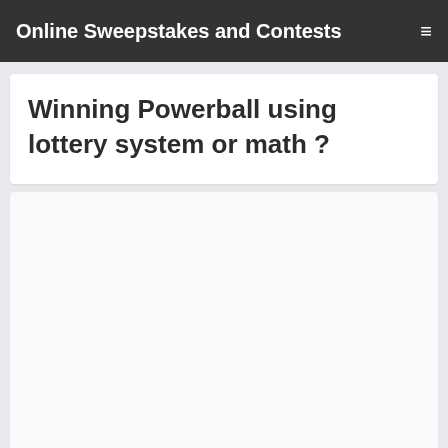Online Sweepstakes and Contests
Winning Powerball using lottery system or math ?